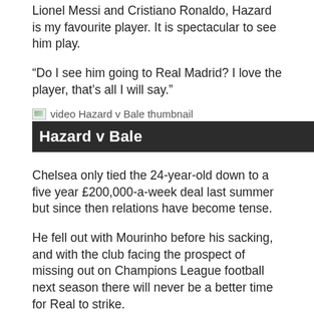Lionel Messi and Cristiano Ronaldo, Hazard is my favourite player. It is spectacular to see him play.
“Do I see him going to Real Madrid? I love the player, that’s all I will say.”
[Figure (screenshot): Video thumbnail for Hazard v Bale with label text]
Hazard v Bale
Chelsea only tied the 24-year-old down to a five year £200,000-a-week deal last summer but since then relations have become tense.
He fell out with Mourinho before his sacking, and with the club facing the prospect of missing out on Champions League football next season there will never be a better time for Real to strike.
[Figure (photo): Image of Zidane with alt text: Zidane has made no secret of his admiration for Haz]
Zidane has made no secret of his admir